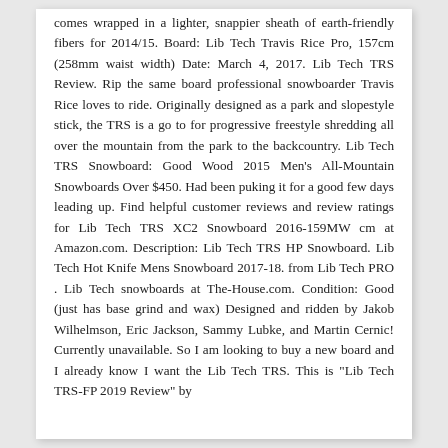comes wrapped in a lighter, snappier sheath of earth-friendly fibers for 2014/15. Board: Lib Tech Travis Rice Pro, 157cm (258mm waist width) Date: March 4, 2017. Lib Tech TRS Review. Rip the same board professional snowboarder Travis Rice loves to ride. Originally designed as a park and slopestyle stick, the TRS is a go to for progressive freestyle shredding all over the mountain from the park to the backcountry. Lib Tech TRS Snowboard: Good Wood 2015 Men's All-Mountain Snowboards Over $450. Had been puking it for a good few days leading up. Find helpful customer reviews and review ratings for Lib Tech TRS XC2 Snowboard 2016-159MW cm at Amazon.com. Description: Lib Tech TRS HP Snowboard. Lib Tech Hot Knife Mens Snowboard 2017-18. from Lib Tech PRO . Lib Tech snowboards at The-House.com. Condition: Good (just has base grind and wax) Designed and ridden by Jakob Wilhelmson, Eric Jackson, Sammy Lubke, and Martin Cernic! Currently unavailable. So I am looking to buy a new board and I already know I want the Lib Tech TRS. This is "Lib Tech TRS-FP 2019 Review" by